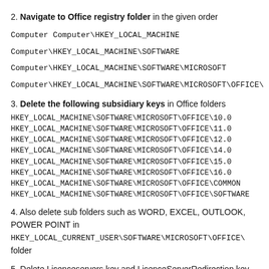2. Navigate to Office registry folder in the given order
Computer Computer\HKEY_LOCAL_MACHINE
Computer\HKEY_LOCAL_MACHINE\SOFTWARE
Computer\HKEY_LOCAL_MACHINE\SOFTWARE\MICROSOFT
Computer\HKEY_LOCAL_MACHINE\SOFTWARE\MICROSOFT\OFFICE\
3. Delete the following subsidiary keys in Office folders HKEY_LOCAL_MACHINE\SOFTWARE\MICROSOFT\OFFICE\10.0 HKEY_LOCAL_MACHINE\SOFTWARE\MICROSOFT\OFFICE\11.0 HKEY_LOCAL_MACHINE\SOFTWARE\MICROSOFT\OFFICE\12.0 HKEY_LOCAL_MACHINE\SOFTWARE\MICROSOFT\OFFICE\14.0 HKEY_LOCAL_MACHINE\SOFTWARE\MICROSOFT\OFFICE\15.0 HKEY_LOCAL_MACHINE\SOFTWARE\MICROSOFT\OFFICE\16.0 HKEY_LOCAL_MACHINE\SOFTWARE\MICROSOFT\OFFICE\COMMON HKEY_LOCAL_MACHINE\SOFTWARE\MICROSOFT\OFFICE\SOFTWARE
4. Also delete sub folders such as WORD, EXCEL, OUTLOOK, POWER POINT in HKEY_LOCAL_CURRENT_USER\SOFTWARE\MICROSOFT\OFFICE\ folder
5. Delete Licenceservers key and LicenceServerRedirection key